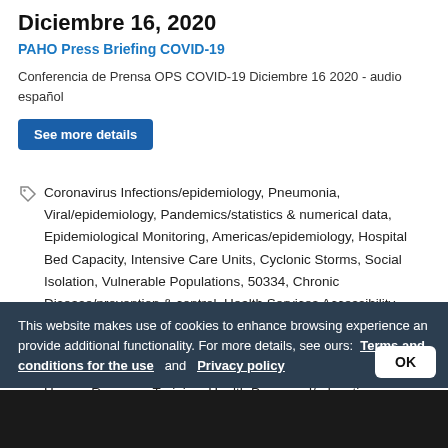Diciembre 16, 2020
PAHO Press Briefing COVID-19
Conferencia de Prensa OPS COVID-19 Diciembre 16 2020 - audio español
See more details
Coronavirus Infections/epidemiology, Pneumonia, Viral/epidemiology, Pandemics/statistics & numerical data, Epidemiological Monitoring, Americas/epidemiology, Hospital Bed Capacity, Intensive Care Units, Cyclonic Storms, Social Isolation, Vulnerable Populations, 50334, Chronic Disease/prevention & control, Health Services Accessibility, Polymerase Chain Reaction/methods, Coronavirus Infections/diagnosis, Pneumonia, Viral/diagnosis, Health Systems/organization & administration, Health Policy, Health Human Resource Training, Health Personnel/education, Personal Protective Equipment/supply & distribution, Betacoronavirus/immunology,
This website makes use of cookies to enhance browsing experience and provide additional functionality. For more details, see ours: Terms and conditions for the use and Privacy policy